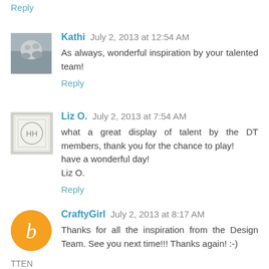Reply
Kathi  July 2, 2013 at 12:54 AM
As always, wonderful inspiration by your talented team!
Reply
Liz O.  July 2, 2013 at 7:54 AM
what a great display of talent by the DT members, thank you for the chance to play!
have a wonderful day!
Liz O.
Reply
CraftyGirl  July 2, 2013 at 8:17 AM
Thanks for all the inspiration from the Design Team. See you next time!!! Thanks again! :-)
TTEN